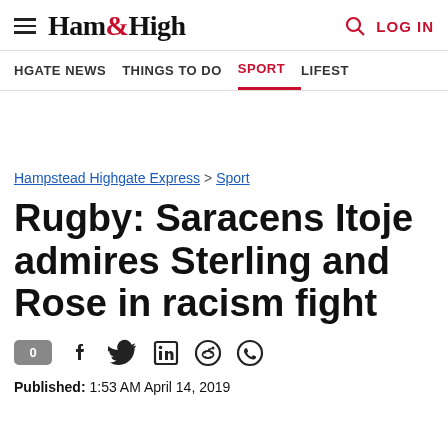Ham&High
HGATE NEWS  THINGS TO DO  SPORT  LIFEST
Hampstead Highgate Express > Sport
Rugby: Saracens Itoje admires Sterling and Rose in racism fight
Published: 1:53 AM April 14, 2019